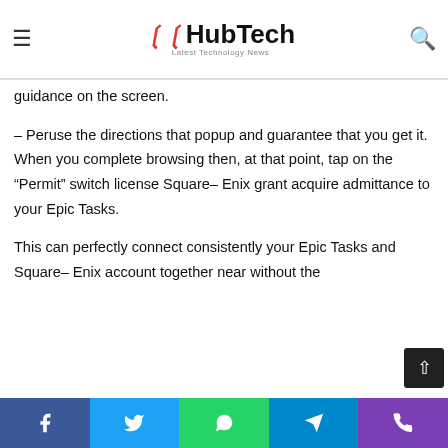HubTech – Latest Technology News (navigation bar with hamburger menu and search icon)
– Select the “Epic Game” from the table of errands and sign into your Heroic Games account adhering to the guidance on the screen.
– Peruse the directions that popup and guarantee that you get it. When you complete browsing then, at that point, tap on the “Permit” switch license Square– Enix grant acquire admittance to your Epic Tasks.
This can perfectly connect consistently your Epic Tasks and Square– Enix account together near without the
Facebook | Twitter | WhatsApp | Telegram | Phone (social share toolbar)